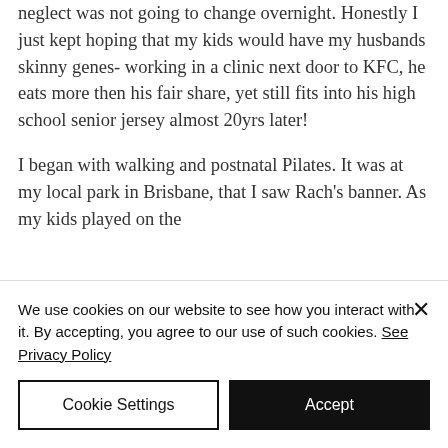neglect was not going to change overnight. Honestly I just kept hoping that my kids would have my husbands skinny genes- working in a clinic next door to KFC, he eats more then his fair share, yet still fits into his high school senior jersey almost 20yrs later!

I began with walking and postnatal Pilates. It was at my local park in Brisbane, that I saw Rach's banner. As my kids played on the
We use cookies on our website to see how you interact with it. By accepting, you agree to our use of such cookies. See Privacy Policy